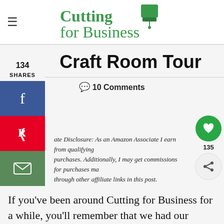Cutting for Business
Craft Room Tour
10 Comments
Affiliate Disclosure: As an Amazon Associate I earn from qualifying purchases. Additionally, I may get commissions for purchases made through other affiliate links in this post.
If you've been around Cutting for Business for a while, you'll remember that we had our